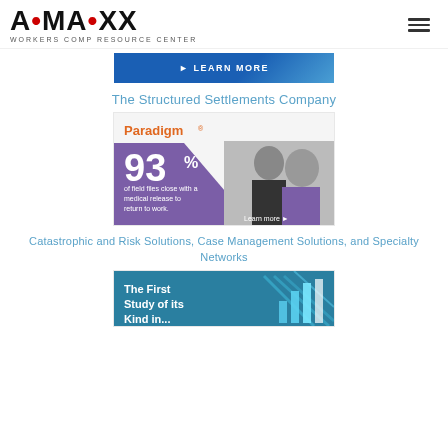AMAXX WORKERS COMP RESOURCE CENTER
[Figure (screenshot): Blue banner ad with LEARN MORE button]
The Structured Settlements Company
[Figure (screenshot): Paradigm ad: 93% of field files close with a medical release to return to work. Learn more arrow.]
Catastrophic and Risk Solutions, Case Management Solutions, and Specialty Networks
[Figure (screenshot): Ad with text: The First Study of its Kind...]